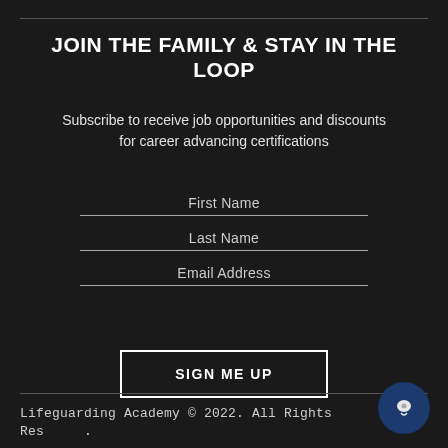JOIN THE FAMILY & STAY IN THE LOOP
Subscribe to receive job opportunities and discounts for career advancing certifications
First Name
Last Name
Email Address
SIGN ME UP
Lifeguarding Academy © 2022. All Rights Reserved.